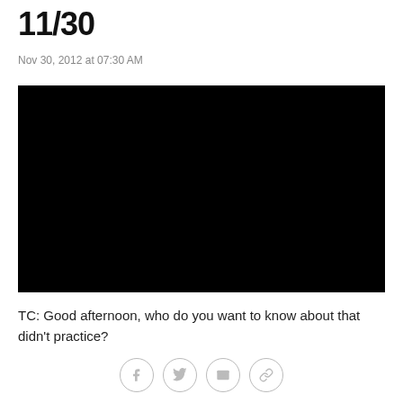11/30
Nov 30, 2012 at 07:30 AM
[Figure (other): Black video player embed area]
TC: Good afternoon, who do you want to know about that didn't practice?
Social share buttons: Facebook, Twitter, Email, Link